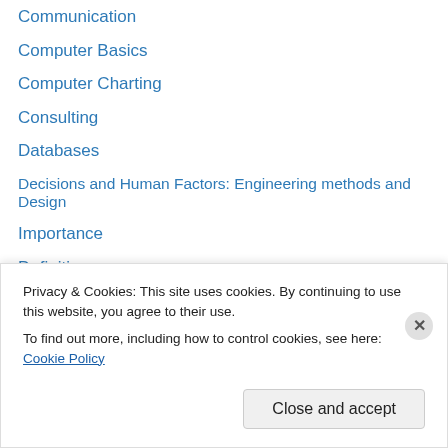Communication
Computer Basics
Computer Charting
Consulting
Databases
Decisions and Human Factors: Engineering methods and Design
Importance
Definitions
Disease Prevention
Education
Electronic Medical Record
Employment Opportunities
Ethics
Evidence-based Healthcare
Privacy & Cookies: This site uses cookies. By continuing to use this website, you agree to their use. To find out more, including how to control cookies, see here: Cookie Policy